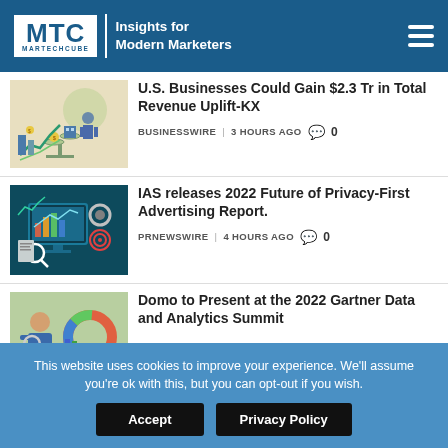MTC MARTECHCUBE | Insights for Modern Marketers
[Figure (illustration): Business analytics illustration with scales, charts, and a figure]
U.S. Businesses Could Gain $2.3 Tr in Total Revenue Uplift-KX
BUSINESSWIRE | 3 HOURS AGO  0
[Figure (illustration): Digital marketing analytics dashboard with charts, gears, and magnifying glass]
IAS releases 2022 Future of Privacy-First Advertising Report.
PRNEWSWIRE | 4 HOURS AGO  0
[Figure (illustration): Business analyst with magnifying glass and data charts]
Domo to Present at the 2022 Gartner Data and Analytics Summit
This website uses cookies to improve your experience. We'll assume you're ok with this, but you can opt-out if you wish.